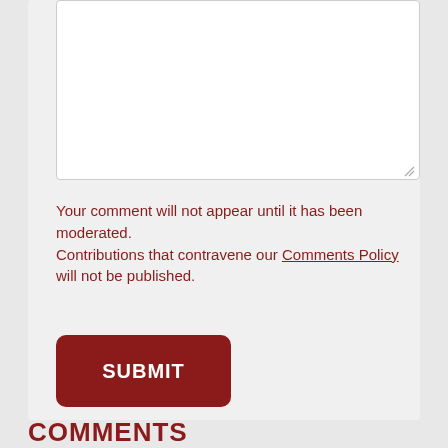[Figure (screenshot): Empty white textarea input box with resize handle in bottom-right corner]
Your comment will not appear until it has been moderated.
Contributions that contravene our Comments Policy will not be published.
SUBMIT
COMMENTS